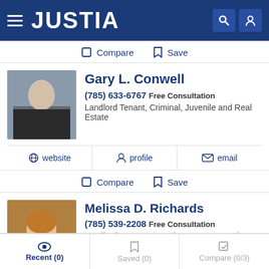JUSTIA
Compare  Save
Gary L. Conwell
(785) 633-6767 Free Consultation
Landlord Tenant, Criminal, Juvenile and Real Estate
website  profile  email
Compare  Save
Melissa D. Richards
(785) 539-2208 Free Consultation
Landlord Tenant, Appeals, Consumer and Divorce
Recent (0)  Saved (0)  Compare (0/3)